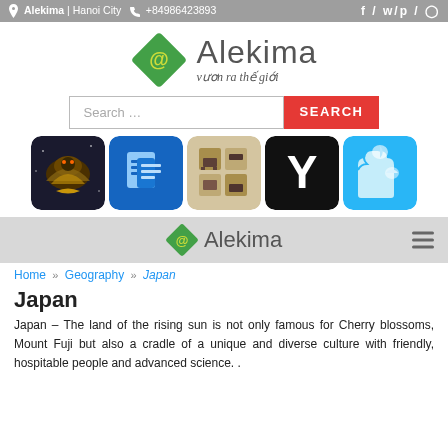Alekima | Hanoi City +84986423893  f / tw / p / ig
[Figure (logo): Alekima logo: green diamond with @ symbol and text 'Alekima' with tagline 'vuon ra the gioi']
[Figure (screenshot): Search bar with 'Search ...' placeholder and red SEARCH button]
[Figure (illustration): Row of 5 app icons: game/eagle, blue app, beige grid, black Y, cyan puzzle piece]
[Figure (logo): Smaller Alekima nav logo with hamburger menu]
Home » Geography » Japan
Japan
Japan – The land of the rising sun is not only famous for Cherry blossoms, Mount Fuji but also a cradle of a unique and diverse culture with friendly, hospitable people and advanced science. .